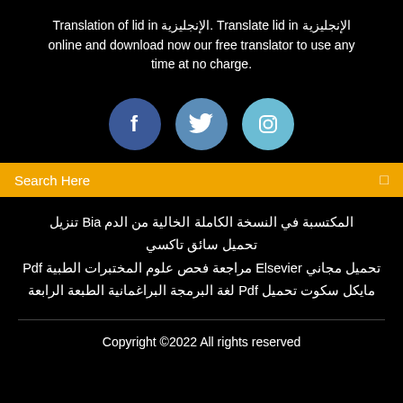Translation of lid in الإنجليزية. Translate lid in الإنجليزية online and download now our free translator to use any time at no charge.
[Figure (infographic): Three social media icons: Facebook (dark blue circle with 'f'), Twitter (medium blue circle with bird icon), Instagram (light blue circle with camera icon)]
Search Here
المكتسبة في النسخة الكاملة الخالية من الدم Bia تنزيل
تحميل سائق تاكسي
تحميل مجاني Elsevier مراجعة فحص علوم المختبرات الطبية Pdf
مايكل سكوت تحميل Pdf لغة البرمجة البراغمانية الطبعة الرابعة
Copyright ©2022 All rights reserved